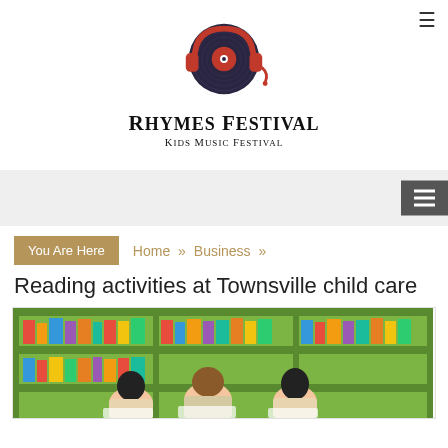[Figure (logo): Rhymes Festival logo: red headphones over a vinyl record]
Rhymes Festival
Kids Music Festival
[Figure (infographic): Navigation hamburger menu icon (dark background)]
You Are Here
Home » Business »
Reading activities at Townsville child care
[Figure (photo): Three young children reading books in a library with green shelves filled with colorful books in the background]